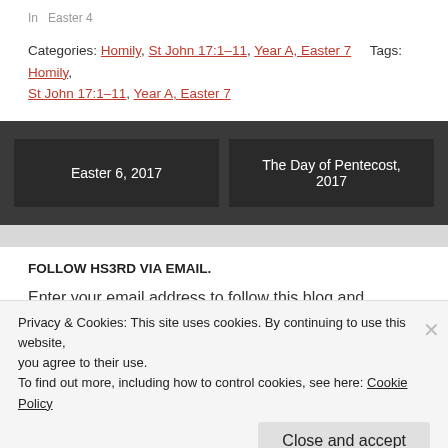In  Easter 4
Categories: Homily, St John 17:1–11, Year A, Easter 7    Tags: Homily, St John 17:1–11, Year A, Easter 7
Easter 6, 2017
The Day of Pentecost, 2017
FOLLOW HS3RD VIA EMAIL.
Enter your email address to follow this blog and receive notifications of new posts by email.
Privacy & Cookies: This site uses cookies. By continuing to use this website, you agree to their use.
To find out more, including how to control cookies, see here: Cookie Policy
Close and accept